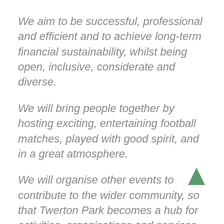We aim to be successful, professional and efficient and to achieve long-term financial sustainability, whilst being open, inclusive, considerate and diverse.
We will bring people together by hosting exciting, entertaining football matches, played with good spirit, and in a great atmosphere.
We will organise other events to contribute to the wider community, so that Twerton Park becomes a hub for activities, organisations and services for people of the surrounding area.
We intent to be an integral part of city life, not